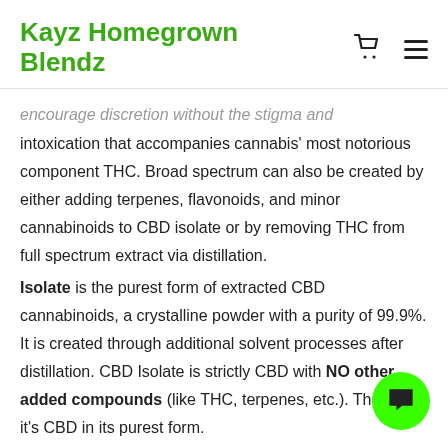Kayz Homegrown Blendz
encourage discretion without the stigma and intoxication that accompanies cannabis' most notorious component THC. Broad spectrum can also be created by either adding terpenes, flavonoids, and minor cannabinoids to CBD isolate or by removing THC from full spectrum extract via distillation.
Isolate is the purest form of extracted CBD cannabinoids, a crystalline powder with a purity of 99.9%. It is created through additional solvent processes after distillation. CBD Isolate is strictly CBD with NO other added compounds (like THC, terpenes, etc.). Therefore, it's CBD in its purest form.